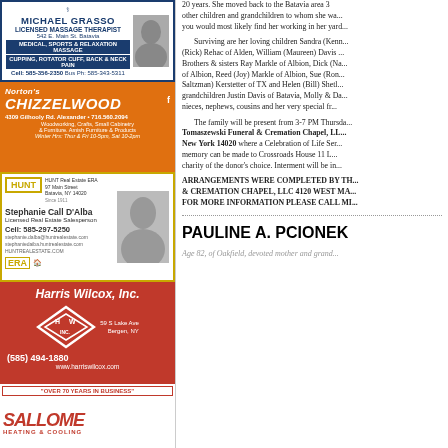[Figure (advertisement): Michael Grasso Licensed Massage Therapist ad. 542 E. Main St. Batavia. Medical, Sports & Relaxation Massage, Cupping, Rotator Cuff, Back & Neck Pain. Cell: 585-356-2350 Bus Ph: 585-343-5311]
[Figure (advertisement): Norton's Chizzelwood ad. 4309 Gilhooly Rd. Alexander - 716.560.2094. Woodworking, Crafts, Small Cabinetry & Furniture. Amish Furniture & Products. Winter Hrs: Thur & Fri 10-5pm, Sat 10-2pm]
[Figure (advertisement): HUNT Real Estate ERA. Stephanie Call D'Alba, Licensed Real Estate Salesperson. Cell: 585-297-5250. stephanie.dalba@huntrealestate.com, stephaniedaiba.huntrealestate.com, HUNTREALESTATE.COM]
[Figure (advertisement): Harris Wilcox, Inc. (585) 494-1880. 59 S Lake Ave, Bergen, NY. www.harriswilcox.com]
[Figure (advertisement): OVER 70 YEARS IN BUSINESS - Sallome Heating & Cooling ad]
20 years. She moved back to the Batavia area 3... other children and grandchildren to whom she wa... you would most likely find her working in her yard...
Surviving are her loving children Sandra (Kenn... (Rick) Rehac of Alden, William (Maureen) Davis... Brothers & sisters Ray Markle of Albion, Dick (Na... of Albion, Reed (Joy) Markle of Albion, Sue (Ron... Saltzman) Kerstetter of TX and Helen (Bill) Shetl... grandchildren Justin Davis of Batavia, Molly & Da... nieces, nephews, cousins and her very special fr...
The family will be present from 3-7 PM Thursda... Tomaszewski Funeral & Cremation Chapel, LL... New York 14020 where a Celebration of Life Ser... memory can be made to Crossroads House 11 L... charity of the donor's choice. Interment will be in...
ARRANGEMENTS WERE COMPLETED BY TH... & CREMATION CHAPEL, LLC 4120 WEST MA... FOR MORE INFORMATION PLEASE CALL MI...
PAULINE A. PCIONEK
Age 82, of Oakfield, devoted mother and grand...